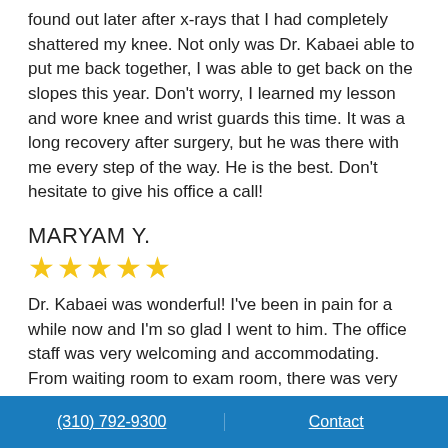found out later after x-rays that I had completely shattered my knee. Not only was Dr. Kabaei able to put me back together, I was able to get back on the slopes this year. Don't worry, I learned my lesson and wore knee and wrist guards this time. It was a long recovery after surgery, but he was there with me every step of the way. He is the best. Don't hesitate to give his office a call!
MARYAM Y.
[Figure (other): Five gold star rating icons]
Dr. Kabaei was wonderful! I've been in pain for a while now and I'm so glad I went to him. The office staff was very welcoming and accommodating. From waiting room to exam room, there was very little wait time to see the Doctor. He spent so much time listening to my issue and
(310) 792-9300   Contact